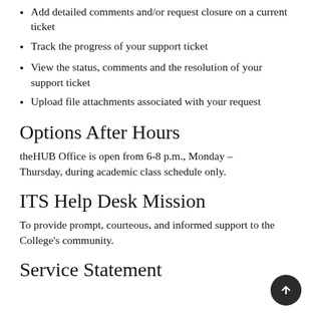Add detailed comments and/or request closure on a current ticket
Track the progress of your support ticket
View the status, comments and the resolution of your support ticket
Upload file attachments associated with your request
Options After Hours
theHUB Office is open from 6-8 p.m., Monday – Thursday, during academic class schedule only.
ITS Help Desk Mission
To provide prompt, courteous, and informed support to the College's community.
Service Statement